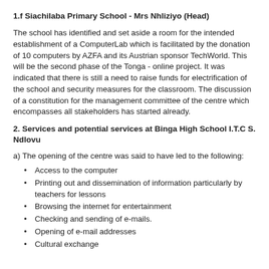1.f Siachilaba Primary School - Mrs Nhliziyo (Head)
The school has identified and set aside a room for the intended establishment of a ComputerLab which is facilitated by the donation of 10 computers by AZFA and its Austrian sponsor TechWorld. This will be the second phase of the Tonga - online project. It was indicated that there is still a need to raise funds for electrification of the school and security measures for the classroom. The discussion of a constitution for the management committee of the centre which encompasses all stakeholders has started already.
2. Services and potential services at Binga High School I.T.C S. Ndlovu
a) The opening of the centre was said to have led to the following:
Access to the computer
Printing out and dissemination of information particularly by teachers for lessons
Browsing the internet for entertainment
Checking and sending of e-mails.
Opening of e-mail addresses
Cultural exchange